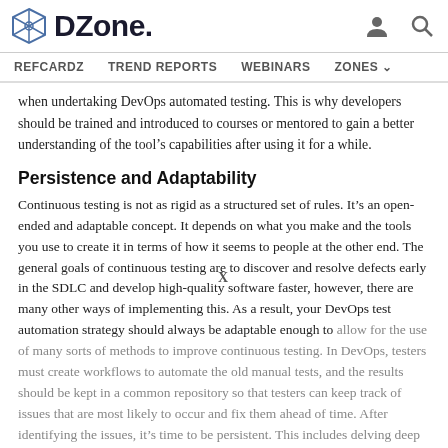DZone. [logo] [user icon] [search icon]
REFCARDZ  TREND REPORTS  WEBINARS  ZONES
when undertaking DevOps automated testing. This is why developers should be trained and introduced to courses or mentored to gain a better understanding of the tool’s capabilities after using it for a while.
Persistence and Adaptability
Continuous testing is not as rigid as a structured set of rules. It’s an open-ended and adaptable concept. It depends on what you make and the tools you use to create it in terms of how it seems to people at the other end. The general goals of continuous testing are to discover and resolve defects early in the SDLC and develop high-quality software faster, however, there are many other ways of implementing this. As a result, your DevOps test automation strategy should always be adaptable enough to allow for the use of many sorts of methods to improve continuous testing. In DevOps, testers must create workflows to automate the old manual tests, and the results should be kept in a common repository so that testers can keep track of issues that are most likely to occur and fix them ahead of time. After identifying the issues, it’s time to be persistent. This includes delving deep into the various possible solutions to the